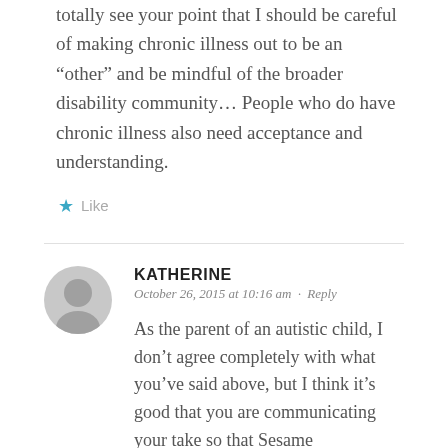totally see your point that I should be careful of making chronic illness out to be an “other” and be mindful of the broader disability community… People who do have chronic illness also need acceptance and understanding.
★ Like
KATHERINE
October 26, 2015 at 10:16 am · Reply
As the parent of an autistic child, I don’t agree completely with what you’ve said above, but I think it’s good that you are communicating your take so that Sesame